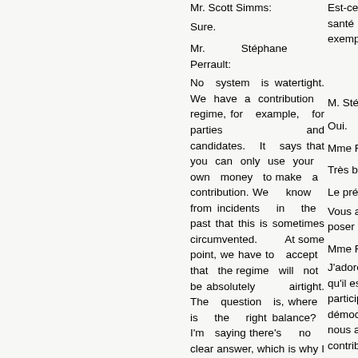Mr. Scott Simms:
Est-ce qu'on incl santé mentale, exemple?
Sure.
M. Stéphane Perra
Mr. Stéphane Perrault:
Oui.
No system is watertight. We have a contribution regime, for example, for parties and candidates. It says that you can only use your own money to make a contribution. We know from incidents in the past that this is sometimes circumvented. At some point, we have to accept that the regime will not be absolutely airtight. The question is, where is the right balance? I'm saying there's no clear answer, which is why I didn't make a specific recommendation. I'm
Mme Filomena Tass
Très bien.
Le président:
Vous avez le temp poser une question.
Mme Filomena Tass
J'adore les jeunes pense qu'il est esse de les faire particip processus démocratique, p que nous allons bénéficier de contributions. À avis, comment Élec Canada pou utiliser le m